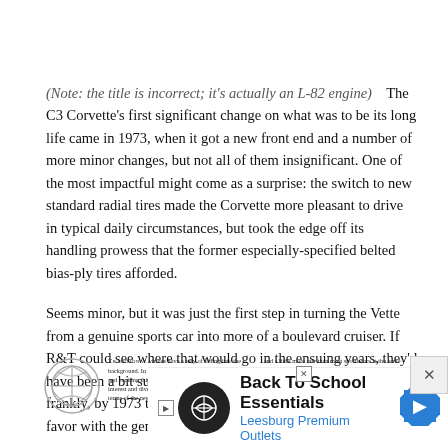(Note: the title is incorrect; it's actually an L-82 engine)    The C3 Corvette's first significant change on what was to be its long life came in 1973, when it got a new front end and a number of more minor changes, but not all of them insignificant. One of the most impactful might come as a surprise: the switch to new standard radial tires made the Corvette more pleasant to drive in typical daily circumstances, but took the edge off its handling prowess that the former especially-specified belted bias-ply tires afforded.
Seems minor, but it was just the first step in turning the Vette from a genuine sports car into more of a boulevard cruiser. If R&T could see where that would go in the ensuing years, they'd have been a bit surprised. But that was the C3's trajectory, and frankly, by 1973 the Corvette had already largely fallen out of favor with the genuine sports car set.
[Figure (other): Article preview snippet showing text columns about traditional virtues fading into the background and the Corvette, with a circular logo/icon on the left.]
[Figure (other): Advertisement banner for Back To School Essentials at Leesburg Premium Outlets with logo, title text, and navigation arrow icon.]